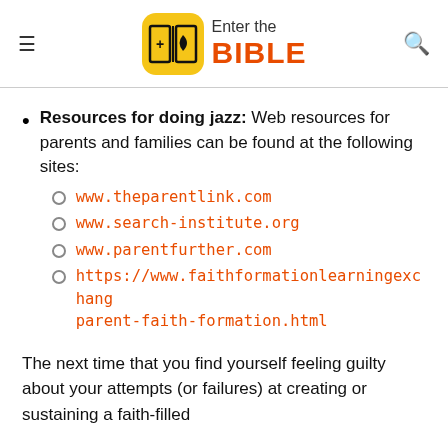Enter the BIBLE
Resources for doing jazz: Web resources for parents and families can be found at the following sites:
- www.theparentlink.com
- www.search-institute.org
- www.parentfurther.com
- https://www.faithformationlearningexchange.net/parent-faith-formation.html
The next time that you find yourself feeling guilty about your attempts (or failures) at creating or sustaining a faith-filled